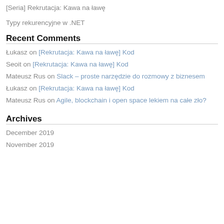[Seria] Rekrutacja: Kawa na ławę
Typy rekurencyjne w .NET
Recent Comments
Łukasz on [Rekrutacja: Kawa na ławę] Kod
Seoit on [Rekrutacja: Kawa na ławę] Kod
Mateusz Rus on Slack – proste narzędzie do rozmowy z biznesem
Łukasz on [Rekrutacja: Kawa na ławę] Kod
Mateusz Rus on Agile, blockchain i open space lekiem na całe zło?
Archives
December 2019
November 2019